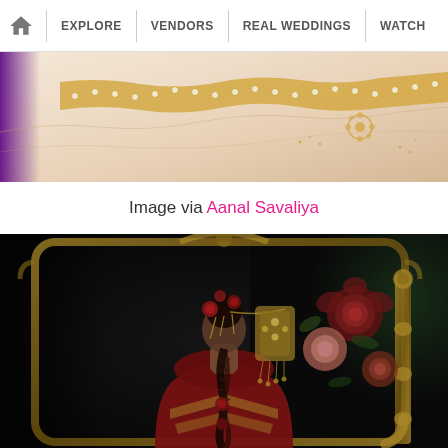🏠 | EXPLORE | VENDORS | REAL WEDDINGS | WATCH
[Figure (photo): Close-up of an ornate white/cream saree with gold embroidery, beaded border and floral motifs, with a purple accent visible on the left edge]
Image via Aanal Savaliya
[Figure (photo): Bride seen from the back wearing a red lehenga with gold details, elaborate jhoomar/passa jewelry cascading from her hair bun decorated with red roses and marigolds, standing in front of an ornate gold-framed mirror with dark green floral background]